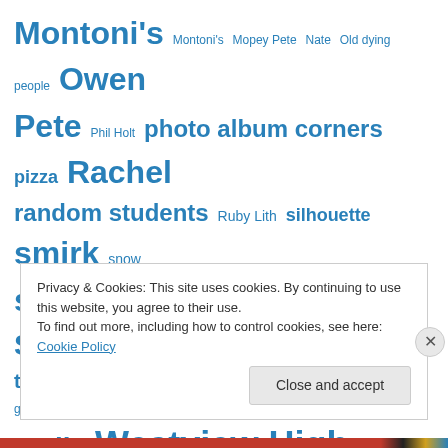Montoni's  Montoni's  Mopey Pete  Nate  Old dying people  Owen  Pete  Phil Holt  photo album corners  pizza  Rachel  random students  Ruby Lith  silhouette  smirk  snow  sports  squiggly lines  Starbuck Jones  Summer  technology  traveling green shirt  unnatural hand gestures  Wally  Westview High School  Westview HS Band
Privacy & Cookies: This site uses cookies. By continuing to use this website, you agree to their use. To find out more, including how to control cookies, see here: Cookie Policy
Close and accept